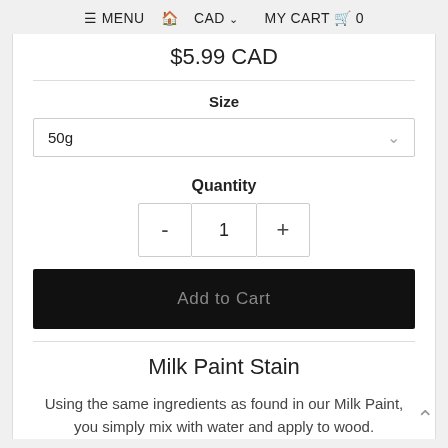≡ MENU  🏠 CAD∨  MY CART 🛒 0
$5.99 CAD
Size
50g
Quantity
- 1 +
Add to Cart
Milk Paint Stain
Using the same ingredients as found in our Milk Paint, you simply mix with water and apply to wood.